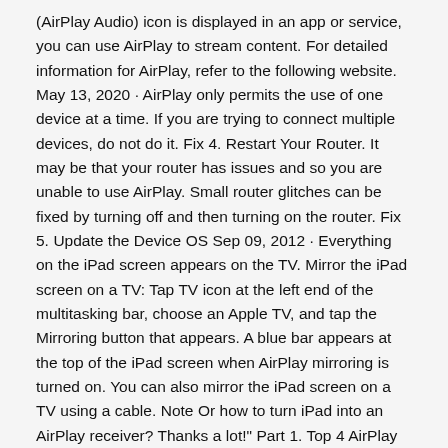(AirPlay Audio) icon is displayed in an app or service, you can use AirPlay to stream content. For detailed information for AirPlay, refer to the following website. May 13, 2020 · AirPlay only permits the use of one device at a time. If you are trying to connect multiple devices, do not do it. Fix 4. Restart Your Router. It may be that your router has issues and so you are unable to use AirPlay. Small router glitches can be fixed by turning off and then turning on the router. Fix 5. Update the Device OS Sep 09, 2012 · Everything on the iPad screen appears on the TV. Mirror the iPad screen on a TV: Tap TV icon at the left end of the multitasking bar, choose an Apple TV, and tap the Mirroring button that appears. A blue bar appears at the top of the iPad screen when AirPlay mirroring is turned on. You can also mirror the iPad screen on a TV using a cable. Note Or how to turn iPad into an AirPlay receiver? Thanks a lot!" Part 1. Top 4 AirPlay Receiver Tools for iOS Device Part 2. How to Turn iPhone to An AirPlay Receiver. Generally speaking, to use Apple AirPlay to stream videos, music,